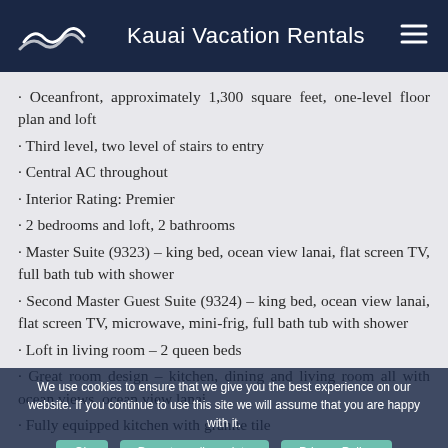Kauai Vacation Rentals
· Oceanfront, approximately 1,300 square feet, one-level floor plan and loft
· Third level, two level of stairs to entry
· Central AC throughout
· Interior Rating: Premier
· 2 bedrooms and loft, 2 bathrooms
· Master Suite (9323) – king bed, ocean view lanai, flat screen TV, full bath tub with shower
· Second Master Guest Suite (9324) – king bed, ocean view lanai, flat screen TV, microwave, mini-frig, full bath tub with shower
· Loft in living room – 2 queen beds
· Great room design – kitchen, dining and living room all with ocean views, ocean view lanai
· Fully equipped kitchen with granite tile
We use cookies to ensure that we give you the best experience on our website. If you continue to use this site we will assume that you are happy with it.
Ok | Do not resell my data | Privacy Policy